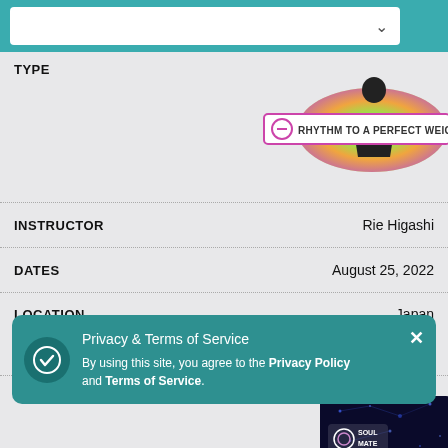[Figure (screenshot): Dropdown search/filter box with white background and chevron arrow on teal navigation bar]
TYPE
[Figure (logo): Rhythm to a Perfect Weight logo with colorful disc and silhouette figure]
INSTRUCTOR
Rie Higashi
DATES
August 25, 2022
LOCATION
Japan
ONLINE SEMINAR
Learn More
TYPE
[Figure (logo): Soul Mate logo on dark blue neural/space background]
INSTRUCTOR
DATES
August 25 - 26, 2022
Privacy & Terms of Service
By using this site, you agree to the Privacy Policy and Terms of Service.